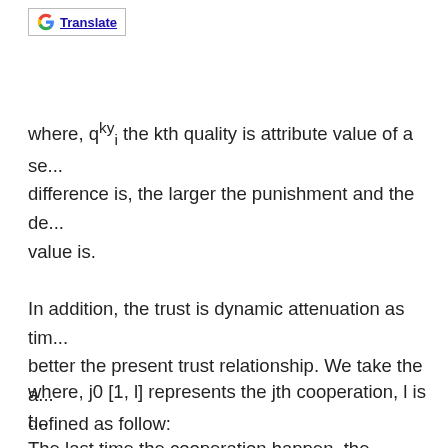[Figure (logo): Google Translate button with G logo]
where, q^{ky}_i the kth quality is attribute value of a se... difference is, the larger the punishment and the de... value is.
In addition, the trust is dynamic attenuation as tim... better the present trust relationship. We take the a... defined as follow:
where, j0 [1, l] represents the jth cooperation, l is t... The last time the cooperation happen, the attenua... value of the attenuation function which shows tha...